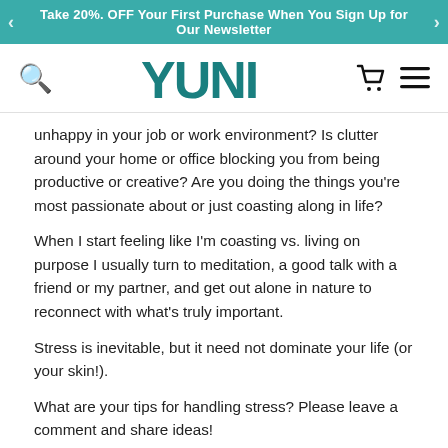Take 20% OFF Your First Purchase When You Sign Up for Our Newsletter
[Figure (logo): YUNI brand logo in teal, with search icon on left and cart/menu icons on right]
unhappy in your job or work environment? Is clutter around your home or office blocking you from being productive or creative? Are you doing the things you're most passionate about or just coasting along in life?
When I start feeling like I'm coasting vs. living on purpose I usually turn to meditation, a good talk with a friend or my partner, and get out alone in nature to reconnect with what's truly important.
Stress is inevitable, but it need not dominate your life (or your skin!).
What are your tips for handling stress? Please leave a comment and share ideas!
About the Author: